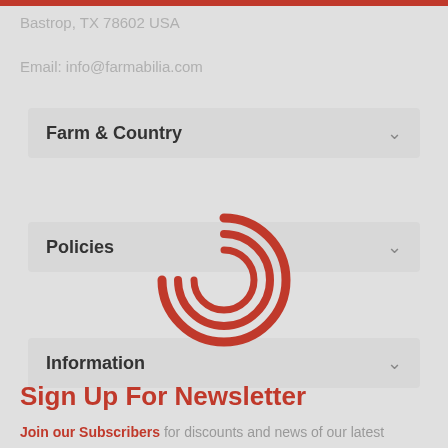Bastrop, TX 78602 USA
Email: info@farmabilia.com
Farm & Country
Policies
[Figure (other): Circular loading spinner icon in dark red color]
Information
Sign Up For Newsletter
Join our Subscribers for discounts and news of our latest